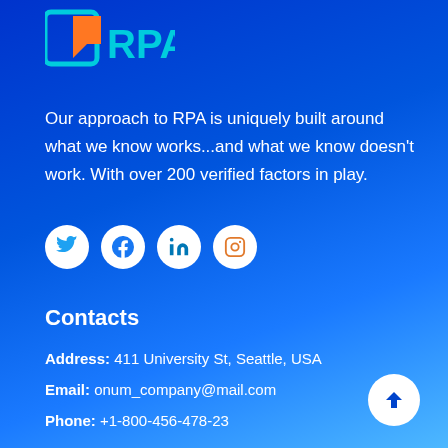[Figure (logo): ORPA company logo with orange and teal graphic icon on blue background]
Our approach to RPA is uniquely built around what we know works...and what we know doesn't work. With over 200 verified factors in play.
[Figure (illustration): Social media icons: Twitter, Facebook, LinkedIn, Instagram - white circles on blue background]
Contacts
Address: 411 University St, Seattle, USA
Email: onum_company@mail.com
Phone: +1-800-456-478-23